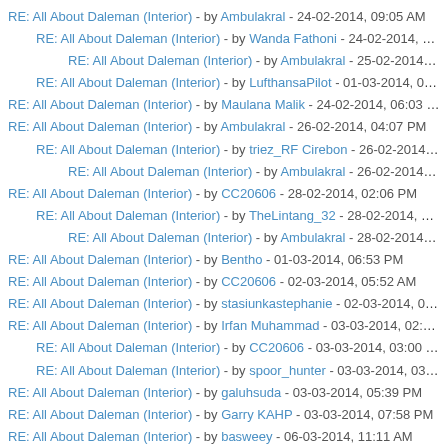RE: All About Daleman (Interior) - by Ambulakral - 24-02-2014, 09:05 AM
RE: All About Daleman (Interior) - by Wanda Fathoni - 24-02-2014, 07:36 PM
RE: All About Daleman (Interior) - by Ambulakral - 25-02-2014, 08:12 AM
RE: All About Daleman (Interior) - by LufthansaPilot - 01-03-2014, 08:58 AM
RE: All About Daleman (Interior) - by Maulana Malik - 24-02-2014, 06:03 PM
RE: All About Daleman (Interior) - by Ambulakral - 26-02-2014, 04:07 PM
RE: All About Daleman (Interior) - by triez_RF Cirebon - 26-02-2014, 04:21 PM
RE: All About Daleman (Interior) - by Ambulakral - 26-02-2014, 05:05 PM
RE: All About Daleman (Interior) - by CC20606 - 28-02-2014, 02:06 PM
RE: All About Daleman (Interior) - by TheLintang_32 - 28-02-2014, 03:11 PM
RE: All About Daleman (Interior) - by Ambulakral - 28-02-2014, 03:47 PM
RE: All About Daleman (Interior) - by Bentho - 01-03-2014, 06:53 PM
RE: All About Daleman (Interior) - by CC20606 - 02-03-2014, 05:52 AM
RE: All About Daleman (Interior) - by stasiunkastephanie - 02-03-2014, 07:33 AM
RE: All About Daleman (Interior) - by Irfan Muhammad - 03-03-2014, 02:25 PM
RE: All About Daleman (Interior) - by CC20606 - 03-03-2014, 03:00 PM
RE: All About Daleman (Interior) - by spoor_hunter - 03-03-2014, 03:20 PM
RE: All About Daleman (Interior) - by galuhsuda - 03-03-2014, 05:39 PM
RE: All About Daleman (Interior) - by Garry KAHP - 03-03-2014, 07:58 PM
RE: All About Daleman (Interior) - by basweey - 06-03-2014, 11:11 AM
RE: All About Daleman (Interior) - by Ambulakral - 13-03-2014, 07:10 AM
RE: All About Daleman (Interior) - by RickyDwiS - 13-03-2014, 11:44 AM
RE: All About Daleman (Interior) - by Ambulakral - 13-03-2014, 04:01 PM
RE: All About Daleman (Interior) - by TheLintang_32 - 13-03-2014, 12:05 PM
RE: All About Daleman (Interior) - by LufthansaPilot - 14-03-2014, 09:17 AM